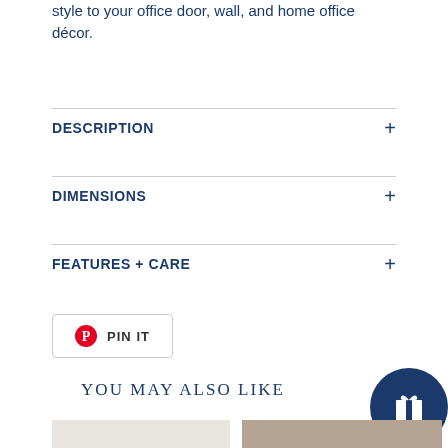style to your office door, wall, and home office décor.
DESCRIPTION
DIMENSIONS
FEATURES + CARE
PIN IT
YOU MAY ALSO LIKE
[Figure (photo): Product image on left]
[Figure (photo): Product image on right with striped ribbon]